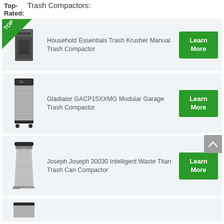Top-Rated: Trash Compactors:
Household Essentials Trash Krusher Manual Trash Compactor
Gladiator GACP15XXMG Modular Garage Trash Compactor
Joseph Joseph 30030 Intelligent Waste Titan Trash Can Compactor